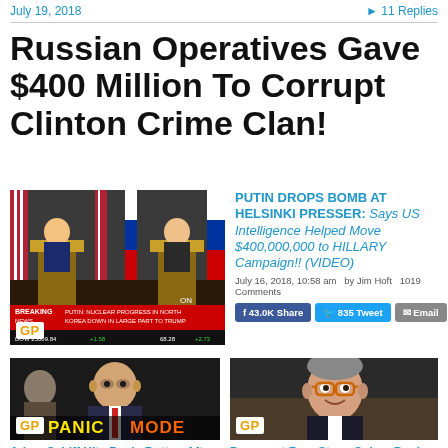July 19, 2018   ▶ 11 Replies
Russian Operatives Gave $400 Million To Corrupt Clinton Crime Clan!
[Figure (screenshot): Press conference with two men at podiums, American and Russian flags in background, breaking news chyron. GP badge visible.]
PUTIN DROPS BOMB AT HELSINKI PRESSER: Says US Intelligence Helped Move $400,000,000 to HILLARY Campaign!! (VIDEO)
July 16, 2018, 10:58 am  by Jim Hoft  1019 Comments
f 43.0K Share   835 Tweet   Email
[Figure (screenshot): Man in suit with glasses looking forward, 'PANIC MODE' text overlay. GP badge visible.]
Adam Schiff Hits Panic Button After
[Figure (screenshot): Older man with orange-rimmed glasses smiling. GP badge visible.]
Democrat Rep. Steve Cohen Denies